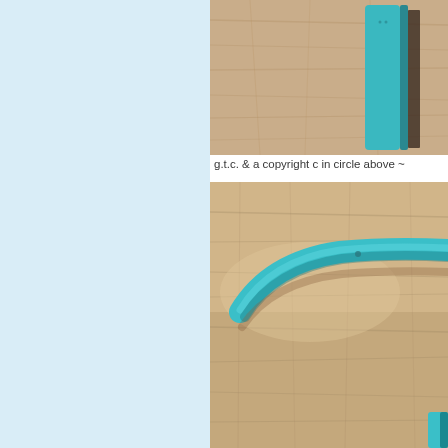[Figure (photo): Close-up photo of a teal/turquoise colored object (appears to be a phone case or similar flat object) standing upright on a wooden surface, photographed from the side showing the edge]
g.t.c. & a copyright c in circle above ~
[Figure (photo): Close-up photo of a curved teal/turquoise object resting on a wooden surface, showing the curved end/hook shape of the object]